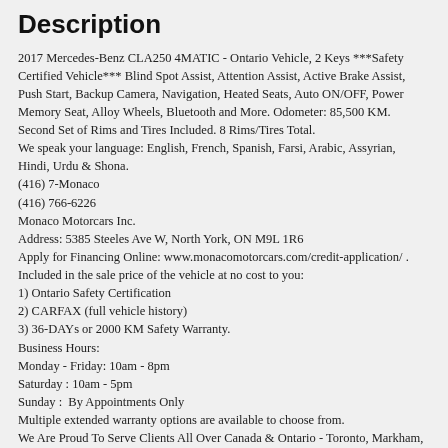Description
2017 Mercedes-Benz CLA250 4MATIC - Ontario Vehicle, 2 Keys ***Safety Certified Vehicle*** Blind Spot Assist, Attention Assist, Active Brake Assist, Push Start, Backup Camera, Navigation, Heated Seats, Auto ON/OFF, Power Memory Seat, Alloy Wheels, Bluetooth and More. Odometer: 85,500 KM.
Second Set of Rims and Tires Included. 8 Rims/Tires Total.
We speak your language: English, French, Spanish, Farsi, Arabic, Assyrian, Hindi, Urdu & Shona.
(416) 7-Monaco
(416) 766-6226
Monaco Motorcars Inc.
Address: 5385 Steeles Ave W, North York, ON M9L 1R6
Apply for Financing Online: www.monacomotorcars.com/credit-application/ .
Included in the sale price of the vehicle at no cost to you:
1) Ontario Safety Certification
2) CARFAX (full vehicle history)
3) 36-DAYs or 2000 KM Safety Warranty.
Business Hours:
Monday - Friday: 10am - 8pm
Saturday : 10am - 5pm
Sunday :  By Appointments Only
Multiple extended warranty options are available to choose from.
We Are Proud To Serve Clients All Over Canada & Ontario - Toronto, Markham, Richmond Hill, Mississauga, Oshawa, Etobicoke, Newmarket, Pickering, Whitby, Ajax, North York, Scarborough, Barrie, Orangeville, Waterloo, Milton, Kitchener, Ottawa, Aurora, London, Kingston, Hamilton, Muskoka, Belleville, Brant, Brantford, Brockville, Cornwall, Windsor, Sudbury, Guelph, Orillia, Sarnia, Timmins, Thunder Bay, Welland, Pembroke, St Catharines, St. Thomas, Thorold,